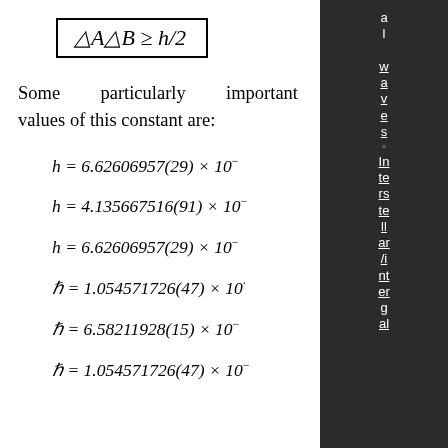Some particularly important values of this constant are: